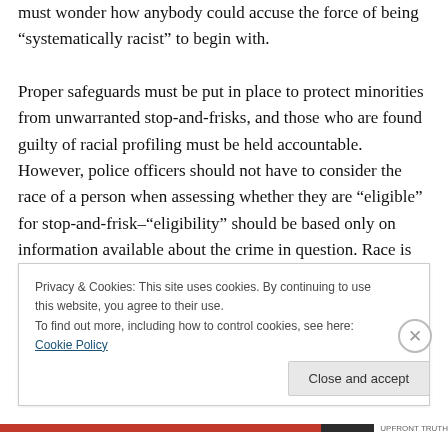must wonder how anybody could accuse the force of being “systematically racist” to begin with.
Proper safeguards must be put in place to protect minorities from unwarranted stop-and-frisks, and those who are found guilty of racial profiling must be held accountable. However, police officers should not have to consider the race of a person when assessing whether they are “eligible” for stop-and-frisk–“eligibility” should be based only on information available about the crime in question. Race is simply one of the many pieces of information an officer has when considering whether to
Privacy & Cookies: This site uses cookies. By continuing to use this website, you agree to their use.
To find out more, including how to control cookies, see here: Cookie Policy